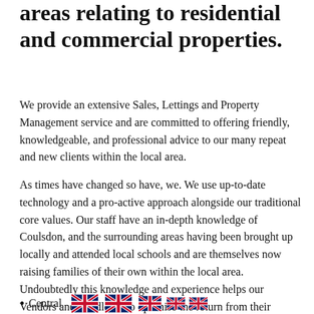areas relating to residential and commercial properties.
We provide an extensive Sales, Lettings and Property Management service and are committed to offering friendly, knowledgeable, and professional advice to our many repeat and new clients within the local area.
As times have changed so have, we. We use up-to-date technology and a pro-active approach alongside our traditional core values. Our staff have an in-depth knowledge of Coulsdon, and the surrounding areas having been brought up locally and attended local schools and are themselves now raising families of their own within the local area. Undoubtedly this knowledge and experience helps our Vendors and Landlords to optimise the return from their properties and helps Purchasers and Tenants to find accommodation suitable to their requirements.
Central